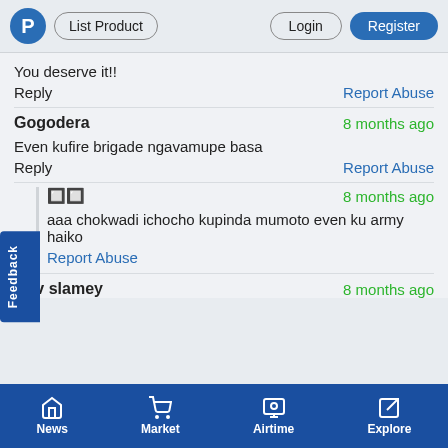P | List Product | Login | Register
You deserve it!!
Reply                                    Report Abuse
Gogodera   8 months ago
Even kufire brigade ngavamupe basa
Reply                                    Report Abuse
🔲🔲   8 months ago
aaa chokwadi ichocho kupinda mumoto even ku army haiko
Report Abuse
Adv slamey   8 months ago
News | Market | Airtime | Explore